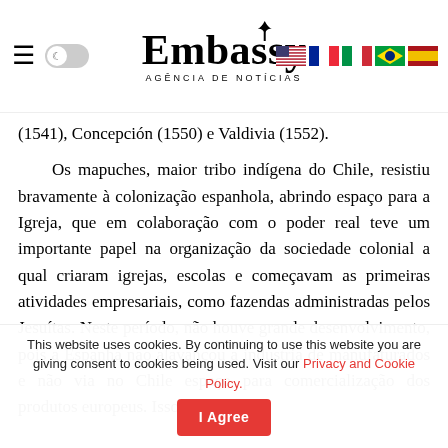Embassy Agência de Notícias — navigation header with language flags
(1541), Concepción (1550) e Valdivia (1552).
Os mapuches, maior tribo indígena do Chile, resistiu bravamente à colonização espanhola, abrindo espaço para a Igreja, que em colaboração com o poder real teve um importante papel na organização da sociedade colonial a qual criaram igrejas, escolas e começavam as primeiras atividades empresariais, como fazendas administradas pelos Jesuítas. Neste período, não houve grande desenvolvimento, pois a Espanha não alavancou a indústria de manufaturados e não via no Chile espaço para comercialização dos produtos europeus. Isso
This website uses cookies. By continuing to use this website you are giving consent to cookies being used. Visit our Privacy and Cookie Policy. I Agree